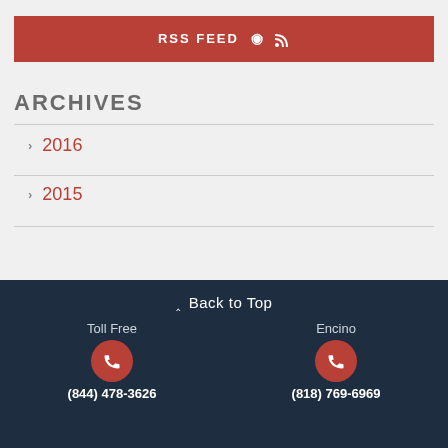[Figure (other): RSS FEED button with RSS icon]
ARCHIVES
> 2016
> 2015
^ Back to Top
Toll Free
(844) 478-3626
Encino
(818) 769-6969